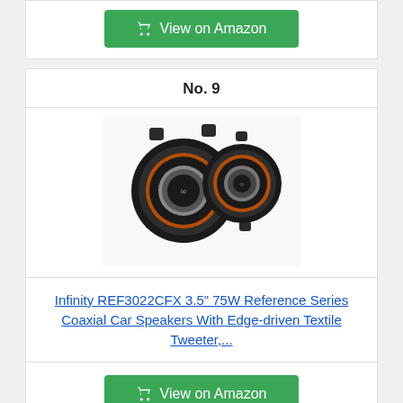[Figure (other): Green 'View on Amazon' button with shopping cart icon (partial top card)]
No. 9
[Figure (photo): Photo of Infinity REF3022CFX 3.5 inch car speakers, two black circular speakers shown]
Infinity REF3022CFX 3.5" 75W Reference Series Coaxial Car Speakers With Edge-driven Textile Tweeter,...
[Figure (other): Green 'View on Amazon' button with shopping cart icon]
infinity reference 6520cx Review :
NO. 1
SALE